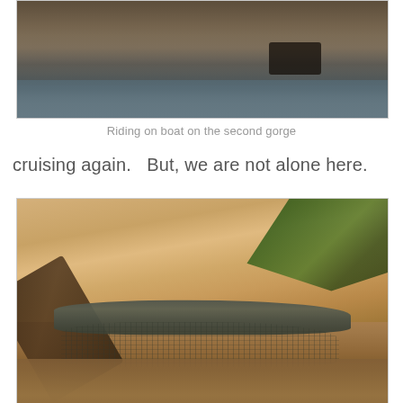[Figure (photo): Photograph of a river gorge with tall rocky cliff walls and calm water, taken from a boat on the second gorge.]
Riding on boat on the second gorge
cruising again.   But, we are not alone here.
[Figure (photo): Photograph of a crocodile resting on a sandy riverbank near the water's edge, with a fallen log to the left and green foliage in the upper right corner.]